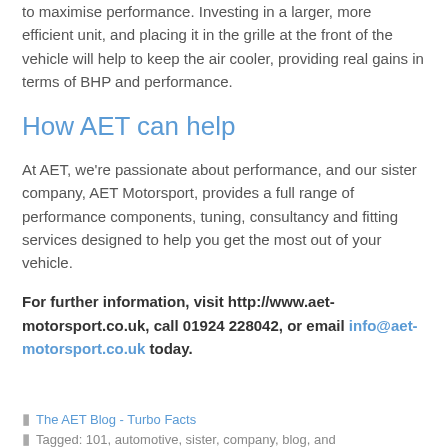to maximise performance. Investing in a larger, more efficient unit, and placing it in the grille at the front of the vehicle will help to keep the air cooler, providing real gains in terms of BHP and performance.
How AET can help
At AET, we're passionate about performance, and our sister company, AET Motorsport, provides a full range of performance components, tuning, consultancy and fitting services designed to help you get the most out of your vehicle.
For further information, visit http://www.aet-motorsport.co.uk, call 01924 228042, or email info@aet-motorsport.co.uk today.
The AET Blog - Turbo Facts
Tagged: 101, automotive, sister, company, blog, and...